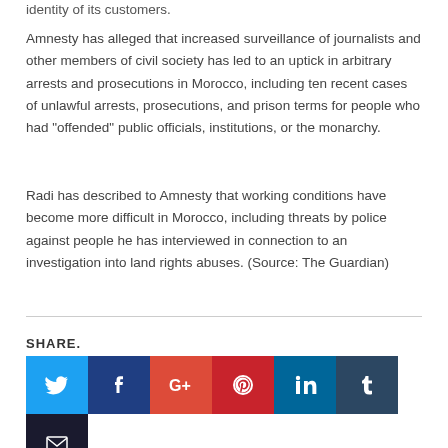identity of its customers.
Amnesty has alleged that increased surveillance of journalists and other members of civil society has led to an uptick in arbitrary arrests and prosecutions in Morocco, including ten recent cases of unlawful arrests, prosecutions, and prison terms for people who had "offended" public officials, institutions, or the monarchy.
Radi has described to Amnesty that working conditions have become more difficult in Morocco, including threats by police against people he has interviewed in connection to an investigation into land rights abuses. (Source: The Guardian)
SHARE.
[Figure (other): Social media share buttons: Twitter (blue), Facebook (dark blue), Google+ (red-orange), Pinterest (red), LinkedIn (blue), Tumblr (dark blue-gray), Email (dark navy)]